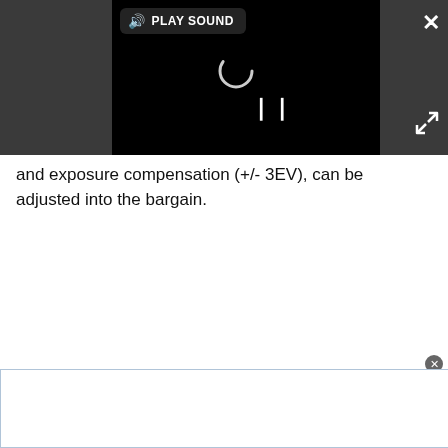[Figure (screenshot): Video player UI embedded in a dark gray overlay. Shows a black video area with a loading spinner, pause button (||), a 'PLAY SOUND' button with speaker icon in the top left of the video, a close (x) button in the top right of the overlay, and an expand/fullscreen button in the bottom right of the overlay.]
and exposure compensation (+/- 3EV), can be adjusted into the bargain.
[Figure (other): Advertisement box at the bottom of the page with a white background and blue border, with a small close button (x) in the top-right corner.]